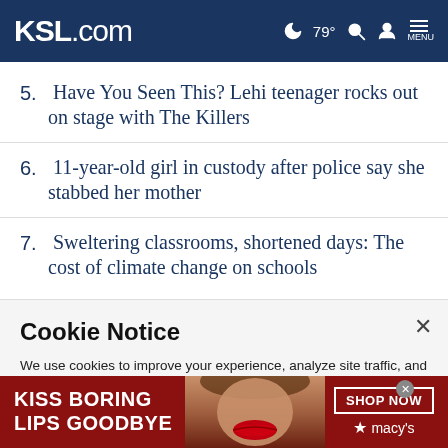KSL.com 79° MENU
5. Have You Seen This? Lehi teenager rocks out on stage with The Killers
6. 11-year-old girl in custody after police say she stabbed her mother
7. Sweltering classrooms, shortened days: The cost of climate change on schools
Cookie Notice
We use cookies to improve your experience, analyze site traffic, and to personalize content and ads. By continuing to use our site, you consent to our use of cookies. Please visit our Terms of Use and Privacy Policy for more information.
[Figure (infographic): Macy's advertisement banner: 'KISS BORING LIPS GOODBYE' with SHOP NOW button and Macy's logo with star, featuring a woman's face with red lipstick on a dark red background]